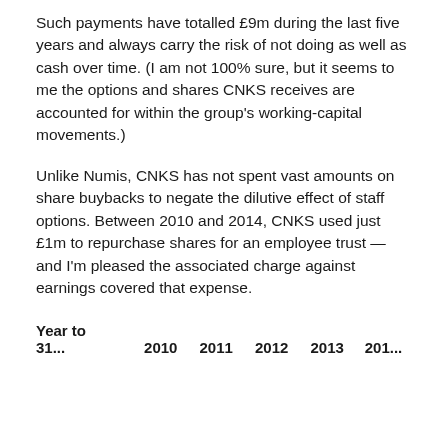Such payments have totalled £9m during the last five years and always carry the risk of not doing as well as cash over time. (I am not 100% sure, but it seems to me the options and shares CNKS receives are accounted for within the group's working-capital movements.)
Unlike Numis, CNKS has not spent vast amounts on share buybacks to negate the dilutive effect of staff options. Between 2010 and 2014, CNKS used just £1m to repurchase shares for an employee trust — and I'm pleased the associated charge against earnings covered that expense.
| Year to 31... | 2010 | 2011 | 2012 | 2013 | 201... |
| --- | --- | --- | --- | --- | --- |